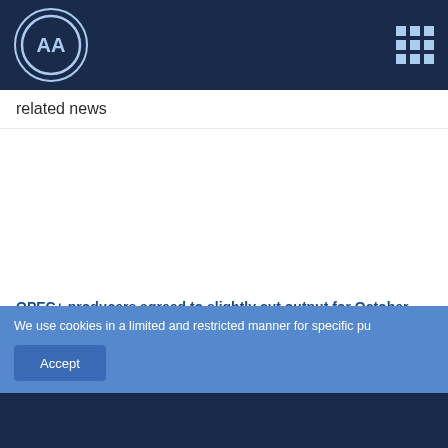AA (Anadolu Agency) logo and navigation
related news
OPEC+ producers agreed to slightly cut output for October
We use cookies in a limited and restricted manner for specific pu
AA NATURAL GAS MARKET   AA ELECTRICITY MARKET (EPIAŞ)   WAP (TL)/aydin   22:39 • 8011.0   22:39 • 3384.0